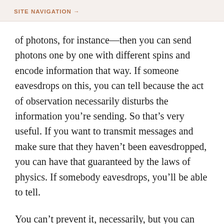SITE NAVIGATION →
of photons, for instance—then you can send photons one by one with different spins and encode information that way. If someone eavesdrops on this, you can tell because the act of observation necessarily disturbs the information you're sending. So that's very useful. If you want to transmit messages and make sure that they haven't been eavesdropped, you can have that guaranteed by the laws of physics. If somebody eavesdrops, you'll be able to tell.
You can't prevent it, necessarily, but you can tell. If you do things right, the probability of anyone being able to eavesdrop successfully can be made negligibly small. So that's a valuable application that's almost tangible. People are beginning to try to commercialize that kind